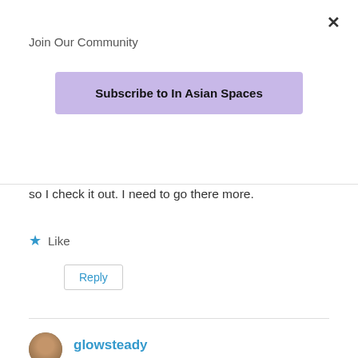Join Our Community
Subscribe to In Asian Spaces
so I check it out. I need to go there more.
Like
Reply
glowsteady
January 11, 2019 at 5:35 pm
I've never seen the show so a lot of this is new to me, but I think it's always disappointing when you